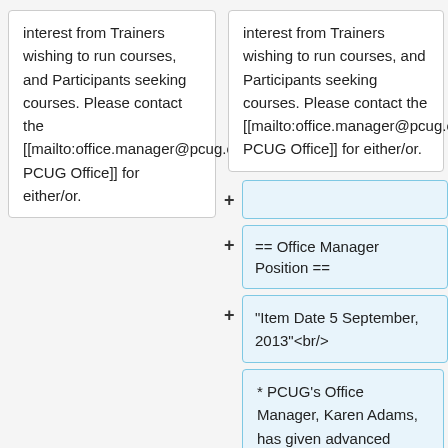interest from Trainers wishing to run courses, and Participants seeking courses. Please contact the [[mailto:office.manager@pcug.org.au PCUG Office]] for either/or.
interest from Trainers wishing to run courses, and Participants seeking courses. Please contact the [[mailto:office.manager@pcug.org.au PCUG Office]] for either/or.
== Office Manager Position ==
"Item Date 5 September, 2013"<br/>
* PCUG's Office Manager, Karen Adams, has given advanced Notice of Resignation to the PCUG Committee taking effect at the end of this year, for personal family reasons. Karen